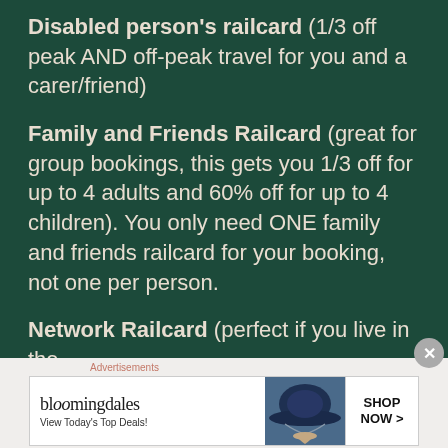Disabled person's railcard (1/3 off peak AND off-peak travel for you and a carer/friend)
Family and Friends Railcard (great for group bookings, this gets you 1/3 off for up to 4 adults and 60% off for up to 4 children). You only need ONE family and friends railcard for your booking, not one per person.
Network Railcard (perfect if you live in the
[Figure (other): Bloomingdales advertisement banner showing logo, 'View Today's Top Deals!' text, a woman in a wide-brim hat, and a 'SHOP NOW >' button]